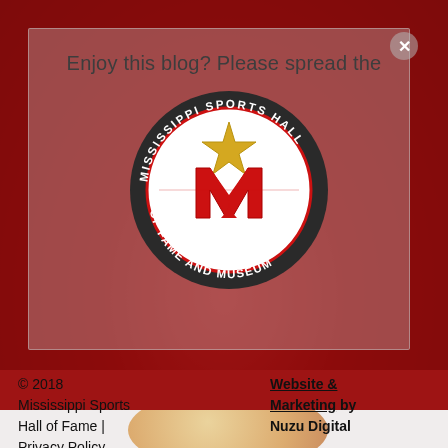Enjoy this blog? Please spread the
[Figure (logo): Mississippi Sports Hall of Fame and Museum circular logo with gold star and red M on white background, dark ring with white text]
© 2018 Mississippi Sports Hall of Fame | Privacy Policy    Website & Marketing by Nuzu Digital